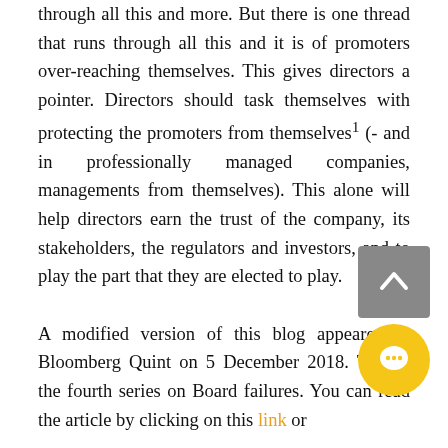through all this and more. But there is one thread that runs through all this and it is of promoters over-reaching themselves. This gives directors a pointer. Directors should task themselves with protecting the promoters from themselves1 (- and in professionally managed companies, managements from themselves). This alone will help directors earn the trust of the company, its stakeholders, the regulators and investors, and to play the part that they are elected to play.

A modified version of this blog appeared in Bloomberg Quint on 5 December 2018. This is the fourth series on Board failures. You can read the article by clicking on this link or